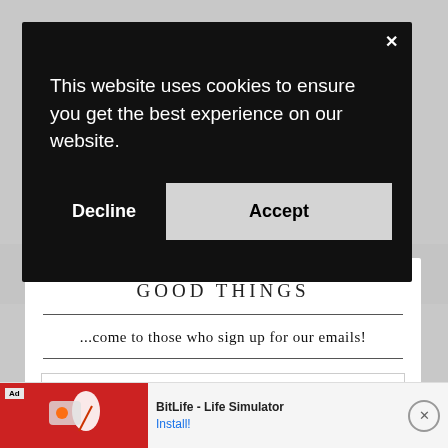[Figure (screenshot): Cookie consent modal dialog with black background showing 'This website uses cookies to ensure you get the best experience on our website.' with Decline and Accept buttons]
This website uses cookies to ensure you get the best experience on our website.
Decline
Accept
GOOD THINGS
...come to those who sign up for our emails!
E-Mail Address
[Figure (screenshot): Ad banner for BitLife - Life Simulator with red background image and Install button]